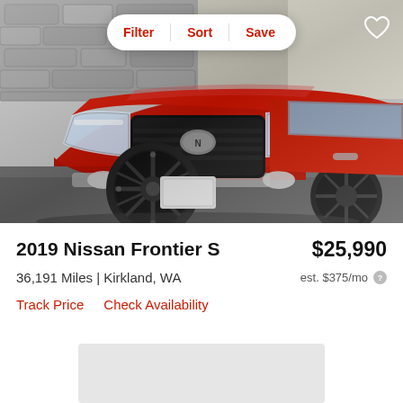[Figure (photo): Red 2019 Nissan Frontier S pickup truck photographed from the front-left angle, with black aftermarket wheels, parked on asphalt in front of a stone wall. Filter, Sort, Save pill button and heart icon overlay the photo.]
2019 Nissan Frontier S
$25,990
36,191 Miles | Kirkland, WA
est. $375/mo
Track Price    Check Availability